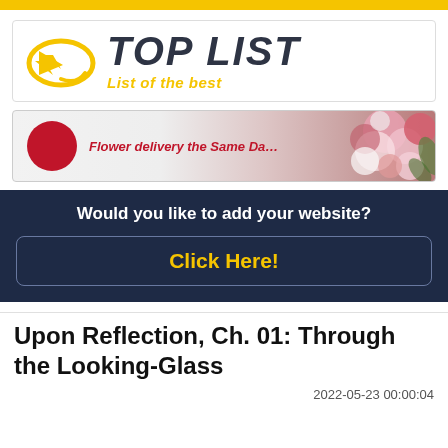[Figure (logo): TOP LIST logo with yellow speech bubble arrow icon and text 'TOP LIST' in dark bold italic, subtitle 'List of the best' in yellow italic]
[Figure (photo): Banner ad with red circle icon, text 'Flower delivery the Same Da...' in red italic, and a floral bouquet photograph on the right]
Would you like to add your website?
Click Here!
Upon Reflection, Ch. 01: Through the Looking-Glass
2022-05-23 00:00:04